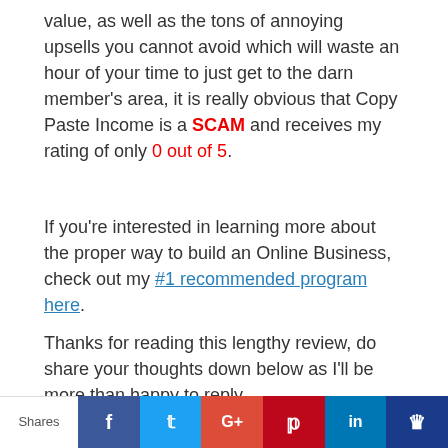value, as well as the tons of annoying upsells you cannot avoid which will waste an hour of your time to just get to the darn member's area, it is really obvious that Copy Paste Income is a SCAM and receives my rating of only 0 out of 5.
If you're interested in learning more about the proper way to build an Online Business, check out my #1 recommended program here.
Thanks for reading this lengthy review, do share your thoughts down below as I'll be more than happy to reply.
[Figure (photo): Headshot photo of a young man with dark hair, smiling, wearing a dark shirt, photographed indoors]
Shares | Facebook | Twitter | Google+ | Pinterest | LinkedIn | Other